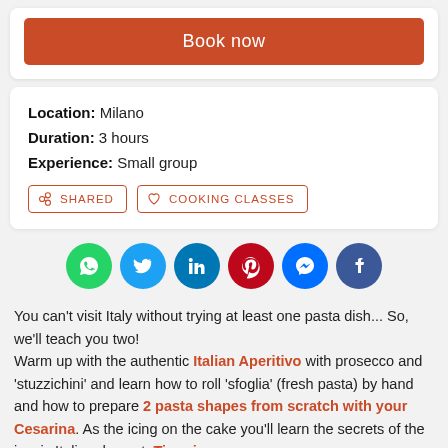Book now
Location: Milano
Duration: 3 hours
Experience: Small group
[Figure (infographic): Row of social share icons: WhatsApp (green), Twitter (blue), LinkedIn (dark teal), Pinterest (red), Messenger (blue), Facebook (dark blue)]
You can't visit Italy without trying at least one pasta dish... So, we'll teach you two!
Warm up with the authentic Italian Aperitivo with prosecco and 'stuzzichini' and learn how to roll 'sfoglia' (fresh pasta) by hand and how to prepare 2 pasta shapes from scratch with your Cesarina. As the icing on the cake you'll learn the secrets of the iconic Italian dessert: Tiramisu.
After this hands-on cooking class, enjoy what you've